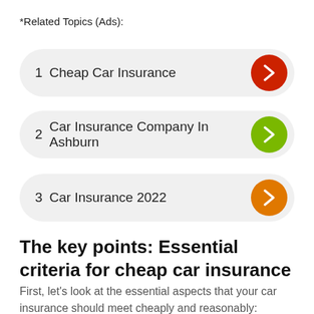*Related Topics (Ads):
1  Cheap Car Insurance
2  Car Insurance Company In Ashburn
3  Car Insurance 2022
The key points: Essential criteria for cheap car insurance
First, let's look at the essential aspects that your car insurance should meet cheaply and reasonably: